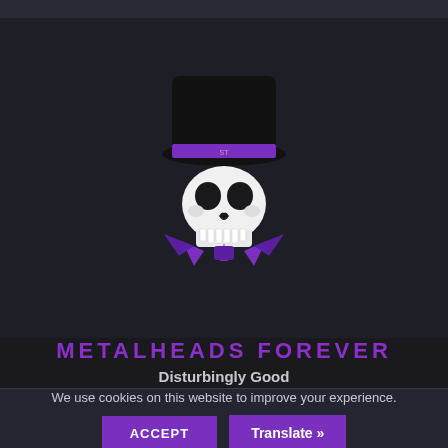[Figure (logo): Skull wearing a black top hat with a purple band, with purple wing/bow-tie element below the skull, forming the Metalheads Forever logo]
METALHEADS FOREVER
Disturbingly Good
We use cookies on this website to improve your experience.
ACCEPT
Translate »